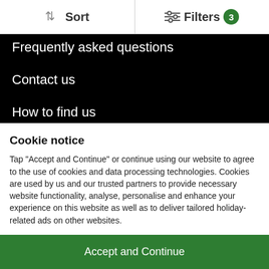Sort   Filters 3
Frequently asked questions
Contact us
How to find us
ABTA
Explore the UK
Our Breaks
Our collections
Cookie notice
Tap "Accept and Continue" or continue using our website to agree to the use of cookies and data processing technologies. Cookies are used by us and our trusted partners to provide necessary website functionality, analyse, personalise and enhance your experience on this website as well as to deliver tailored holiday-related ads on other websites.
Accept and Continue